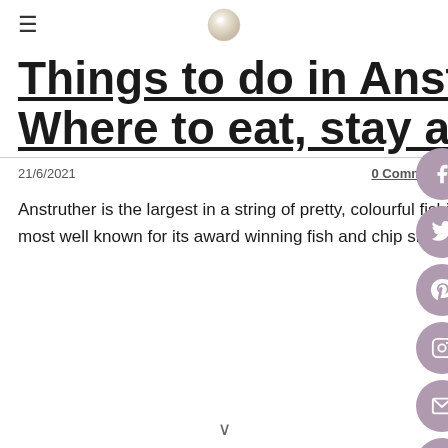≡  [logo/pearl]
Things to do in Anstruther, Fife | Where to eat, stay and play.
21/6/2021    0 Comments
Anstruther is the largest in a string of pretty, colourful fishing villages which make up the East Neuk of Fife. It is most well known for its award winning fish and chip sh… and the day trips to the nearby Isle of May to see…